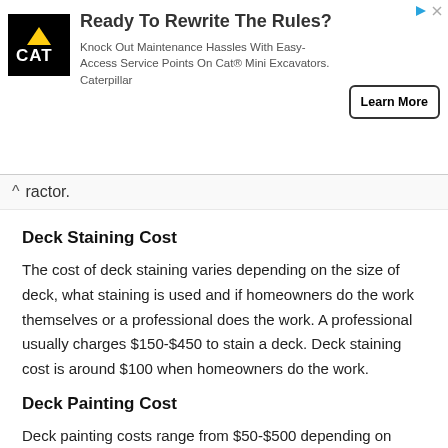[Figure (other): CAT (Caterpillar) advertisement banner with logo, headline 'Ready To Rewrite The Rules?', body text, and 'Learn More' button]
ractor.
Deck Staining Cost
The cost of deck staining varies depending on the size of deck, what staining is used and if homeowners do the work themselves or a professional does the work. A professional usually charges $150-$450 to stain a deck. Deck staining cost is around $100 when homeowners do the work.
Deck Painting Cost
Deck painting costs range from $50-$500 depending on